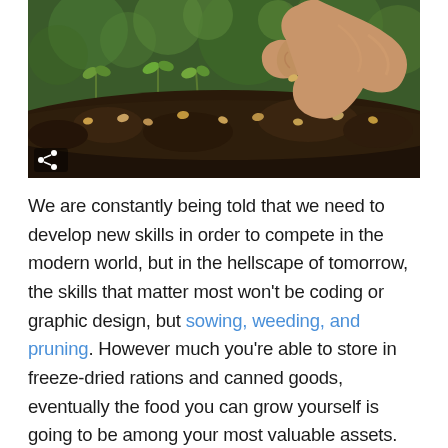[Figure (photo): Close-up photo of a hand planting seeds into dark soil, with small seedlings visible in the background against a green bokeh background. A share icon is visible in the bottom-left of the image.]
We are constantly being told that we need to develop new skills in order to compete in the modern world, but in the hellscape of tomorrow, the skills that matter most won't be coding or graphic design, but sowing, weeding, and pruning. However much you're able to store in freeze-dried rations and canned goods, eventually the food you can grow yourself is going to be among your most valuable assets.